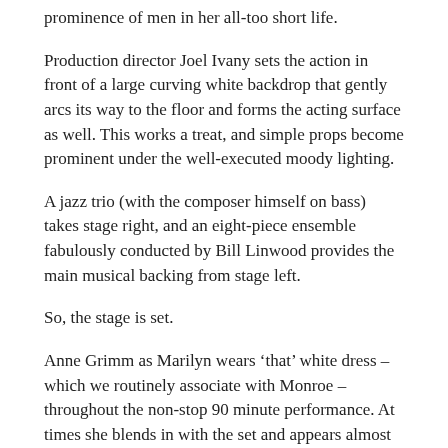prominence of men in her all-too short life.
Production director Joel Ivany sets the action in front of a large curving white backdrop that gently arcs its way to the floor and forms the acting surface as well. This works a treat, and simple props become prominent under the well-executed moody lighting.
A jazz trio (with the composer himself on bass) takes stage right, and an eight-piece ensemble fabulously conducted by Bill Linwood provides the main musical backing from stage left.
So, the stage is set.
Anne Grimm as Marilyn wears ‘that’ white dress – which we routinely associate with Monroe – throughout the non-stop 90 minute performance. At times she blends in with the set and appears almost ethereal, which works well with the frequent suggestions of her alcoholic and prescription-pill induced haze. Baritone Richard Morris, who plays a selection of the men in Marilyn’s life, looks stark by contrast in his black suiting, as do supporting singers tenor Adam Goodburn and bass Nicholas Cannon who play the remaining two members of the